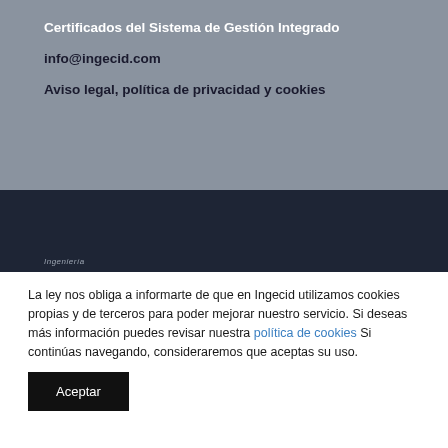Certificados del Sistema de Gestión Integrado
info@ingecid.com
Aviso legal, política de privacidad y cookies
[Figure (screenshot): Dark navy footer section with small italic text 'Ingeniería' at the bottom left]
La ley nos obliga a informarte de que en Ingecid utilizamos cookies propias y de terceros para poder mejorar nuestro servicio. Si deseas más información puedes revisar nuestra política de cookies Si continúas navegando, consideraremos que aceptas su uso.
Aceptar